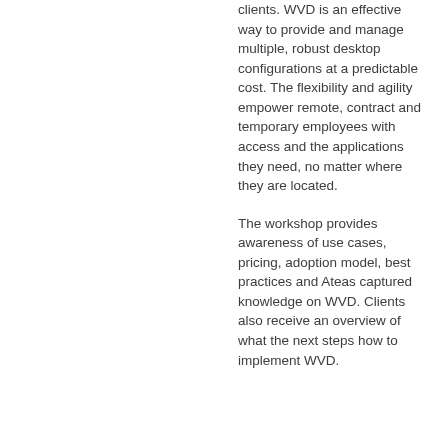clients. WVD is an effective way to provide and manage multiple, robust desktop configurations at a predictable cost. The flexibility and agility empower remote, contract and temporary employees with access and the applications they need, no matter where they are located.
The workshop provides awareness of use cases, pricing, adoption model, best practices and Ateas captured knowledge on WVD. Clients also receive an overview of what the next steps how to implement WVD.